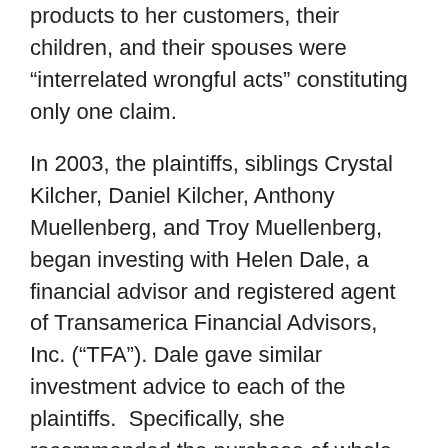products to her customers, their children, and their spouses were “interrelated wrongful acts” constituting only one claim.
In 2003, the plaintiffs, siblings Crystal Kilcher, Daniel Kilcher, Anthony Muellenberg, and Troy Muellenberg, began investing with Helen Dale, a financial advisor and registered agent of Transamerica Financial Advisors, Inc. (“TFA”). Dale gave similar investment advice to each of the plaintiffs. Specifically, she recommended the purchase of whole life insurance policies and fixed annuities. Heeding her advice, each plaintiff purchased a $10 million whole life insurance policy, with premiums ranging from